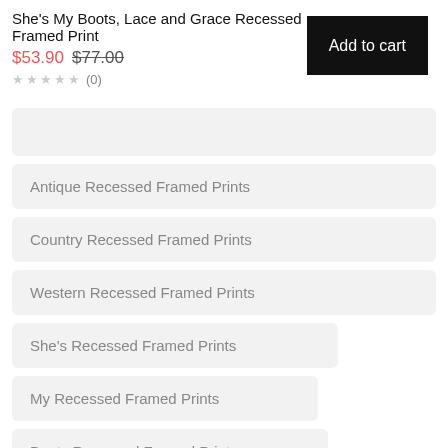She's My Boots, Lace and Grace Recessed Framed Print
$53.90 $77.00
★★★★★ (0)
Add to cart
Antique Recessed Framed Prints
Country Recessed Framed Prints
Western Recessed Framed Prints
She's Recessed Framed Prints
My Recessed Framed Prints
Boots Recessed Framed Prints
Lace Recessed Framed Prints